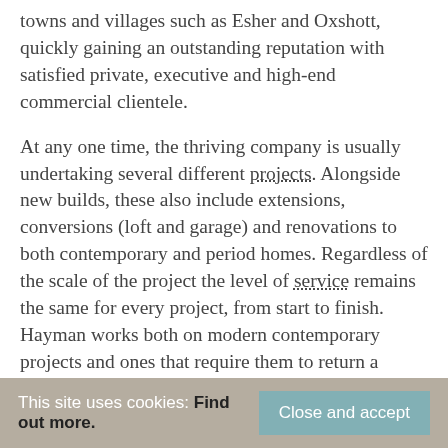towns and villages such as Esher and Oxshott, quickly gaining an outstanding reputation with satisfied private, executive and high-end commercial clientele.
At any one time, the thriving company is usually undertaking several different projects. Alongside new builds, these also include extensions, conversions (loft and garage) and renovations to both contemporary and period homes. Regardless of the scale of the project the level of service remains the same for every project, from start to finish. Hayman works both on modern contemporary projects and ones that require them to return a period property to its former glory. It can create the best of both worlds that combines a [text continues]
This site uses cookies: Find out more.
Close and accept